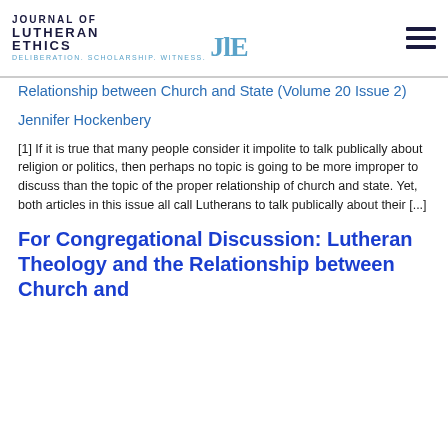Journal of Lutheran Ethics — Deliberation. Scholarship. Witness.
Relationship between Church and State (Volume 20 Issue 2)
Jennifer Hockenbery
[1] If it is true that many people consider it impolite to talk publically about religion or politics, then perhaps no topic is going to be more improper to discuss than the topic of the proper relationship of church and state. Yet, both articles in this issue all call Lutherans to talk publically about their [...]
For Congregational Discussion: Lutheran Theology and the Relationship between Church and